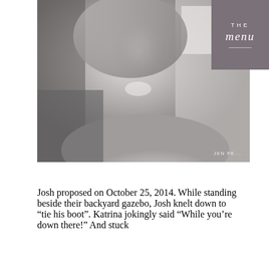[Figure (photo): Black and white portrait photo of a smiling young blonde woman with curly hair, looking slightly upward. Photo credit reads 'JEN PE...' in bottom right corner.]
Josh proposed on October 25, 2014. While standing beside their backyard gazebo, Josh knelt down to “tie his boot”. Katrina jokingly said “While you’re down there!” And stuck